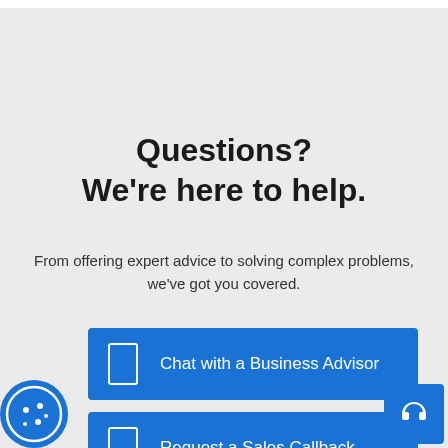Questions?
We're here to help.
From offering expert advice to solving complex problems, we've got you covered.
[Figure (other): Blue button: Chat with a Business Advisor]
[Figure (other): Blue button: Request a Sales Callback]
[Figure (other): Cookie consent icon at bottom left]
[Figure (other): Headset support button at bottom right]